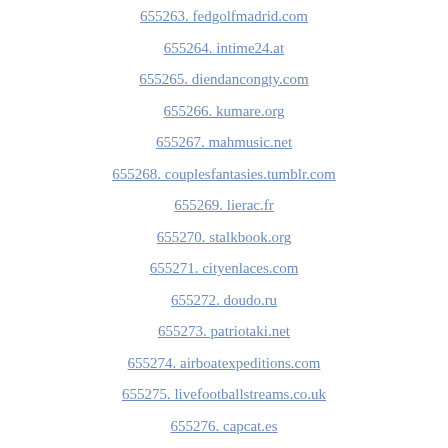655263. fedgolfmadrid.com
655264. intime24.at
655265. diendancongty.com
655266. kumare.org
655267. mahmusic.net
655268. couplesfantasies.tumblr.com
655269. lierac.fr
655270. stalkbook.org
655271. cityenlaces.com
655272. doudo.ru
655273. patriotaki.net
655274. airboatexpeditions.com
655275. livefootballstreams.co.uk
655276. capcat.es
655277. ctpaulphotos.com